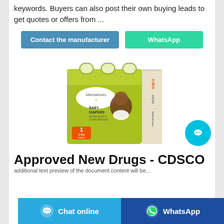keywords. Buyers can also post their own buying leads to get quotes or offers from ...
Contact the manufacturer | WhatsApp
[Figure (photo): Product photo of Mamaloves Baby Diapers package, size 1, 2-5kg, Unisex, green packaging with a baby image]
Approved New Drugs - CDSCO
Chat online | WhatsApp